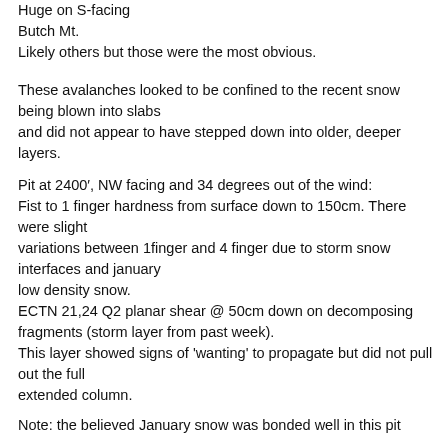Huge on S-facing
Butch Mt.
Likely others but those were the most obvious.
These avalanches looked to be confined to the recent snow being blown into slabs and did not appear to have stepped down into older, deeper layers.
Pit at 2400′, NW facing and 34 degrees out of the wind:
Fist to 1 finger hardness from surface down to 150cm. There were slight variations between 1finger and 4 finger due to storm snow interfaces and january low density snow.
ECTN 21,24 Q2 planar shear @ 50cm down on decomposing fragments (storm layer from past week).
This layer showed signs of 'wanting' to propagate but did not pull out the full extended column.
Note: the believed January snow was bonded well in this pit